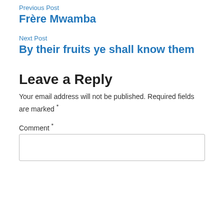Previous Post
Frère Mwamba
Next Post
By their fruits ye shall know them
Leave a Reply
Your email address will not be published. Required fields are marked *
Comment *